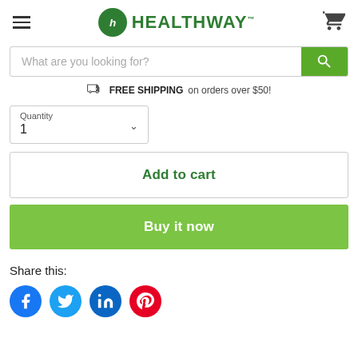[Figure (logo): Healthway logo with green circular icon and HEALTHWAY text in green]
What are you looking for?
FREE SHIPPING on orders over $50!
Quantity
1
Add to cart
Buy it now
Share this:
[Figure (infographic): Social share icons: Facebook (blue), Twitter (light blue), LinkedIn (blue), Pinterest (red)]